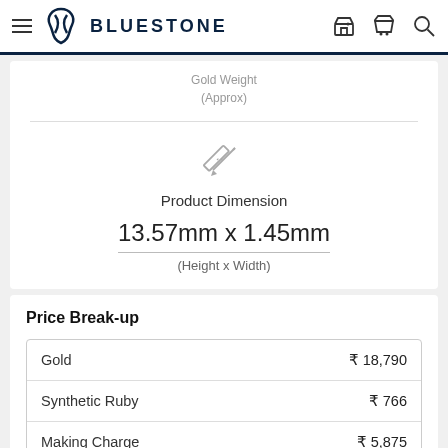BLUESTONE
Gold Weight (Approx)
[Figure (illustration): Ruler and pencil crossed icon representing product dimensions]
Product Dimension
13.57mm x 1.45mm
(Height x Width)
Price Break-up
| Item | Price |
| --- | --- |
| Gold | ₹ 18,790 |
| Synthetic Ruby | ₹ 766 |
| Making Charge | ₹ 5,875 |